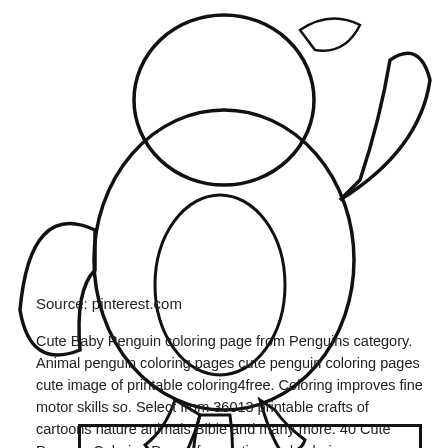[Figure (illustration): Cute baby penguin coloring page outline drawing, showing a round penguin body with wings, feet, and a tail, in black and white line art style. A small 'Super Coloring' logo is visible in the bottom right of the image area.]
Source: pinterest.com
Cute Baby Penguin coloring page from Penguins category. Animal penguin coloring pages cute penguin coloring pages cute image of printable coloring4free. Coloring improves fine motor skills so. Select from 36013 printable crafts of cartoons nature animals Bible and many more. 40 Cute Penguin Coloring Pages for printing and coloring.
[Figure (illustration): Bottom portion of another coloring page image, showing just the top border and sides of a rectangular coloring page outline.]